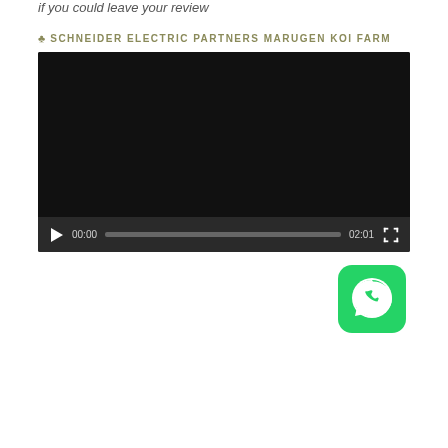if you could leave your review
♣ SCHNEIDER ELECTRIC PARTNERS MARUGEN KOI FARM
[Figure (screenshot): Embedded video player with black screen, showing controls: play button, time 00:00, progress bar, duration 02:01, and fullscreen button]
[Figure (logo): WhatsApp app icon — green rounded square with white speech bubble and phone icon]